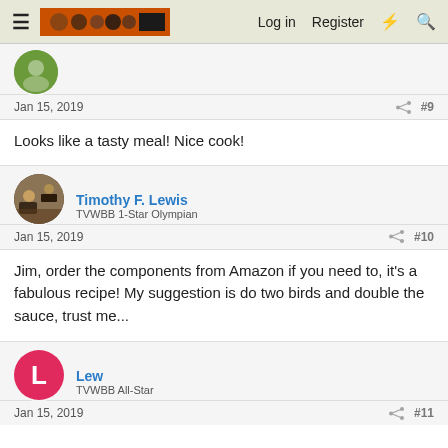TVWBB Forum — Log in | Register
Looks like a tasty meal! Nice cook!
Timothy F. Lewis
TVWBB 1-Star Olympian
Jan 15, 2019 #10
Jim, order the components from Amazon if you need to, it's a fabulous recipe! My suggestion is do two birds and double the sauce, trust me...
Lew
TVWBB All-Star
Jan 15, 2019 #11